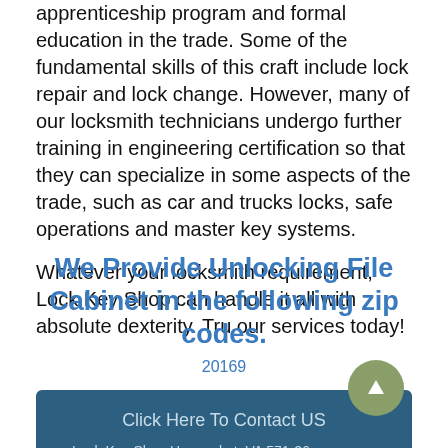apprenticeship program and formal education in the trade. Some of the fundamental skills of this craft include lock repair and lock change. However, many of our locksmith technicians undergo further training in engineering certification so that they can specialize in some aspects of the trade, such as car and trucks locks, safe operations and master key systems.
Whatever your locksmith requirement, Lock Key Shop can handle it all with absolute dexterity. Tru our services today!
We Provide Unlocking File Cabinet in the following zip codes.
20169
Click Here To Contact US
Lock Key Shop Haymarket, VA 571-260285